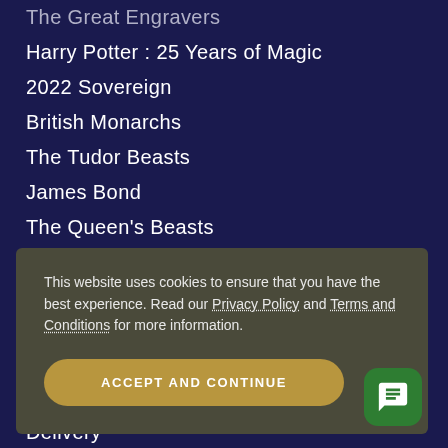The Great Engravers
Harry Potter : 25 Years of Magic
2022 Sovereign
British Monarchs
The Tudor Beasts
James Bond
The Queen's Beasts
Music Legends
Beatrix Potter
This website uses cookies to ensure that you have the best experience. Read our Privacy Policy and Terms and Conditions for more information.
ACCEPT AND CONTINUE
Delivery